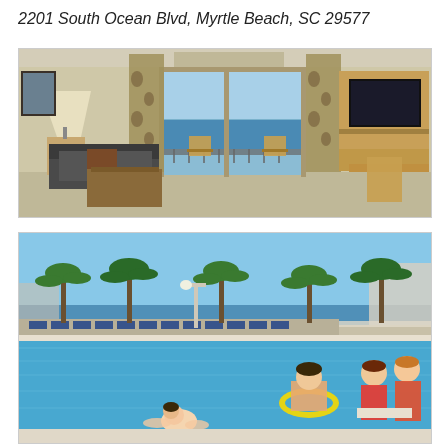2201 South Ocean Blvd, Myrtle Beach, SC 29577
[Figure (photo): Hotel room interior with ocean view through sliding glass door balcony, sofa with decorative pillow, lamp, coffee table, wooden chairs, flat-screen TV mounted on wooden armoire]
[Figure (photo): Outdoor resort pool area with blue water, people swimming and relaxing, lounge chairs, palm trees, and ocean/beach in the background under a clear blue sky]